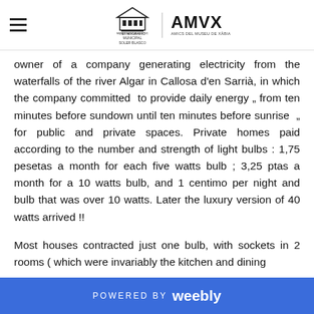Museum logo header with hamburger menu, MUSEU ARQUEOLOGIC I ETNOGRAFIC MUNICIPAL SOLER BLASCO and AMVX logos
owner of a company generating electricity from the waterfalls of the river Algar in Callosa d'en Sarrià, in which the company committed to provide daily energy „ from ten minutes before sundown until ten minutes before sunrise „ for public and private spaces. Private homes paid according to the number and strength of light bulbs : 1,75 pesetas a month for each five watts bulb ; 3,25 ptas a month for a 10 watts bulb, and 1 centimo per night and bulb that was over 10 watts. Later the luxury version of 40 watts arrived !!
Most houses contracted just one bulb, with sockets in 2 rooms ( which were invariably the kitchen and dining
POWERED BY weebly